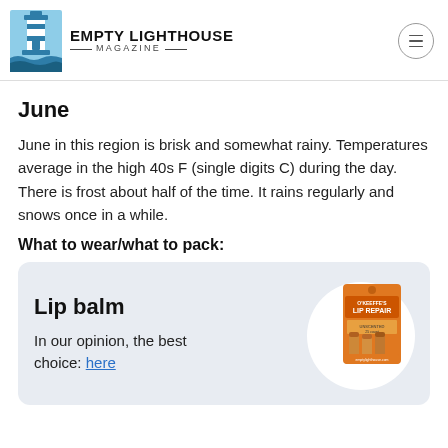EMPTY LIGHTHOUSE MAGAZINE
June
June in this region is brisk and somewhat rainy. Temperatures average in the high 40s F (single digits C) during the day. There is frost about half of the time. It rains regularly and snows once in a while.
What to wear/what to pack:
[Figure (other): Product card for Lip balm with text 'In our opinion, the best choice: here' and an image of O'Keeffe's Lip Repair product on orange packaging]
Lip balm
In our opinion, the best choice: here